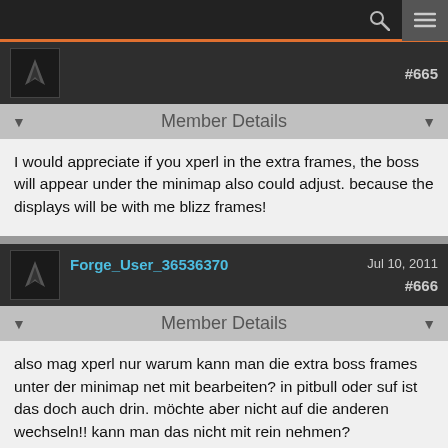navigation bar with search and menu icons
#665
Member Details
I would appreciate if you xperl in the extra frames, the boss will appear under the minimap also could adjust. because the displays will be with me blizz frames!
Forge_User_36536370  Jul 10, 2011  #666
Member Details
also mag xperl nur warum kann man die extra boss frames unter der minimap net mit bearbeiten? in pitbull oder suf ist das doch auch drin. möchte aber nicht auf die anderen wechseln!! kann man das nicht mit rein nehmen?